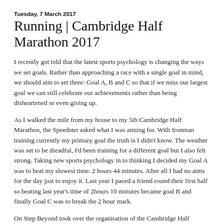Tuesday, 7 March 2017
Running | Cambridge Half Marathon 2017
I recently got told that the latest sports psychology is changing the ways we set goals. Rather than approaching a race with a single goal in mind, we should aim to set three: Goal A, B and C so that if we miss our largest goal we can still celebrate our achievements rather than being disheartened or even giving up.
As I walked the mile from my house to my 5th Cambridge Half Marathon, the Speedster asked what I was aiming for. With Ironman training currently my primary goal the truth is I didn't know. The weather was set to be dreadful, I'd been training for a different goal but I also felt strong. Taking new sports psychology in to thinking I decided my Goal A was to beat my slowest time: 2 hours 44 minutes. After all I had no aims for the day just to enjoy it. Last year I paced a friend round their first half so beating last year's time of 2hours 10 minutes became goal B and finally Goal C was to break the 2 hour mark.
On Step Beyond took over the organisation of the Cambridge Half